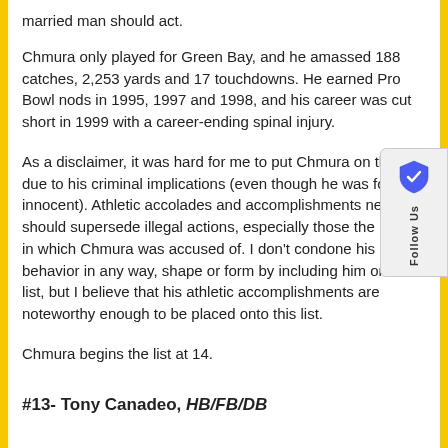married man should act.
Chmura only played for Green Bay, and he amassed 188 catches, 2,253 yards and 17 touchdowns. He earned Pro Bowl nods in 1995, 1997 and 1998, and his career was cut short in 1999 with a career-ending spinal injury.
As a disclaimer, it was hard for me to put Chmura on this list, due to his criminal implications (even though he was found innocent). Athletic accolades and accomplishments never should supersede illegal actions, especially those the nature in which Chmura was accused of. I don't condone his behavior in any way, shape or form by including him on this list, but I believe that his athletic accomplishments are noteworthy enough to be placed onto this list.
Chmura begins the list at 14.
#13- Tony Canadeo, HB/FB/DB